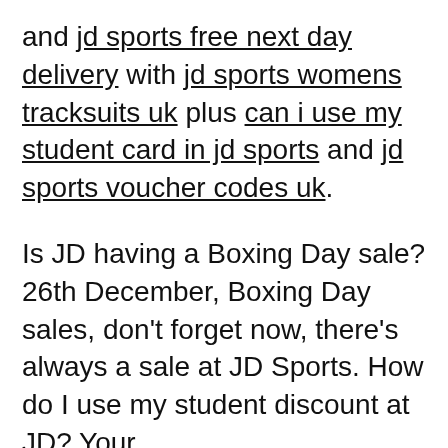and jd sports free next day delivery with jd sports womens tracksuits uk plus can i use my student card in jd sports and jd sports voucher codes uk.
Is JD having a Boxing Day sale? 26th December, Boxing Day sales, don't forget now, there's always a sale at JD Sports. How do I use my student discount at JD? Your